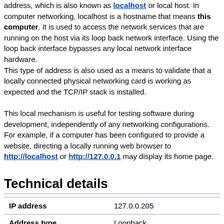address, which is also known as localhost or local host. In computer networking, localhost is a hostname that means this computer. It is used to access the network services that are running on the host via its loop back network interface. Using the loop back interface bypasses any local network interface hardware.
This type of address is also used as a means to validate that a locally connected physical networking card is working as expected and the TCP/IP stack is installed.

This local mechanism is useful for testing software during development, independently of any networking configurations. For example, if a computer has been configured to provide a website, directing a locally running web browser to http://localhost or http://127.0.0.1 may display its home page.
Technical details
| IP address | 127.0.0.205 |
| Address type | Loopback |
| Protocol version | IPv4 |